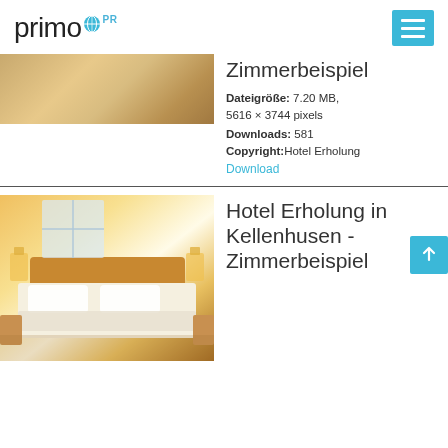primo PR
[Figure (photo): Cropped hotel room thumbnail image showing warm-toned interior]
Zimmerbeispiel
Dateigröße: 7.20 MB, 5616 × 3744 pixels
Downloads: 581
Copyright: Hotel Erholung
Download
[Figure (photo): Hotel room photo showing double bed with white linens, warm yellow walls, bedside lamps, and window with natural light]
Hotel Erholung in Kellenhusen - Zimmerbeispiel